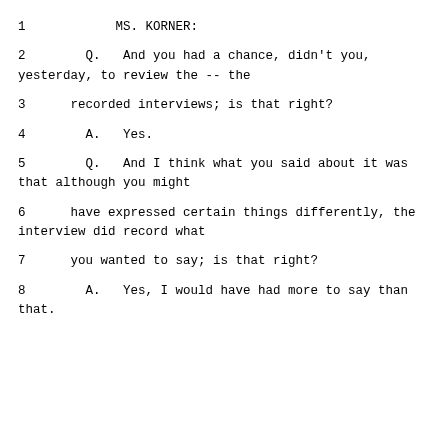1            MS. KORNER:
2        Q.   And you had a chance, didn't you, yesterday, to review the -- the
3      recorded interviews; is that right?
4        A.   Yes.
5        Q.   And I think what you said about it was that although you might
6      have expressed certain things differently, the interview did record what
7      you wanted to say; is that right?
8        A.   Yes, I would have had more to say than that.